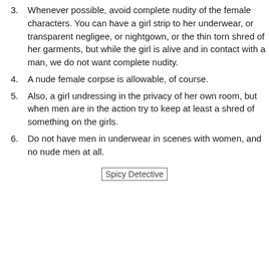3. Whenever possible, avoid complete nudity of the female characters. You can have a girl strip to her underwear, or transparent negligee, or nightgown, or the thin torn shred of her garments, but while the girl is alive and in contact with a man, we do not want complete nudity.
4. A nude female corpse is allowable, of course.
5. Also, a girl undressing in the privacy of her own room, but when men are in the action try to keep at least a shred of something on the girls.
6. Do not have men in underwear in scenes with women, and no nude men at all.
[Figure (other): Broken image placeholder labeled 'Spicy Detective']